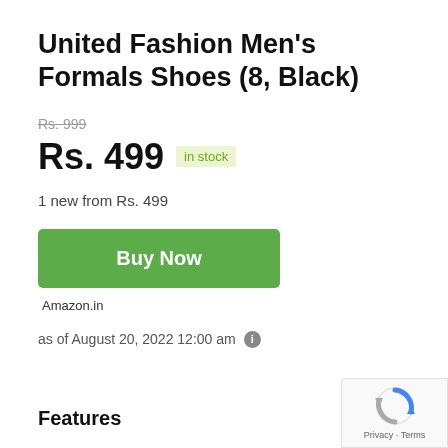United Fashion Men's Formals Shoes (8, Black)
Rs. 999 (strikethrough)
Rs. 499  in stock
1 new from Rs. 499
Buy Now
Amazon.in
as of August 20, 2022 12:00 am
Features
[Figure (logo): reCAPTCHA badge with Privacy - Terms text]